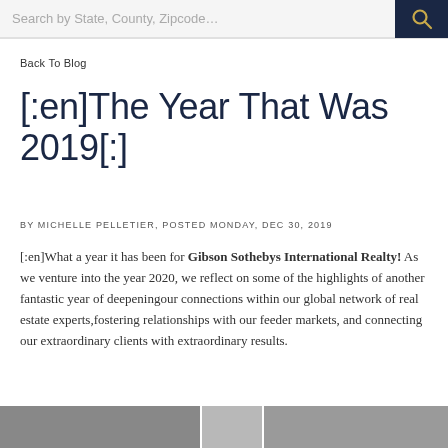Search by State, County, Zipcode…
Back To Blog
[:en]The Year That Was 2019[:]
BY MICHELLE PELLETIER, POSTED MONDAY, DEC 30, 2019
[:en]What a year it has been for Gibson Sothebys International Realty! As we venture into the year 2020, we reflect on some of the highlights of another fantastic year of deepeningour connections within our global network of real estate experts,fostering relationships with our feeder markets, and connecting our extraordinary clients with extraordinary results.
[Figure (photo): Photo strip at bottom of page showing partial images]